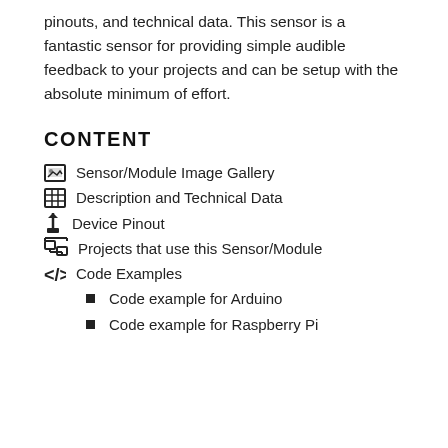pinouts, and technical data. This sensor is a fantastic sensor for providing simple audible feedback to your projects and can be setup with the absolute minimum of effort.
CONTENT
Sensor/Module Image Gallery
Description and Technical Data
Device Pinout
Projects that use this Sensor/Module
Code Examples
Code example for Arduino
Code example for Raspberry Pi